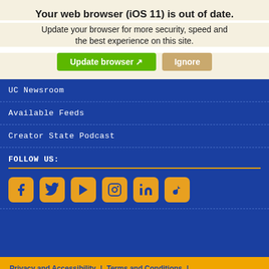Your web browser (iOS 11) is out of date.
Update your browser for more security, speed and the best experience on this site.
Update browser [icon] Ignore
UC Newsroom
Available Feeds
Creator State Podcast
FOLLOW US:
[Figure (infographic): Row of six social media icons (Facebook, Twitter, YouTube, Instagram, LinkedIn, TikTok) with gold background on blue panel]
Privacy and Accessibility | Terms and Conditions | © 2022 Regents of the University of California